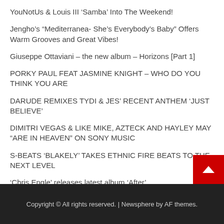YouNotUs & Louis III ‘Samba’ Into The Weekend!
Jengho’s “Mediterranea- She’s Everybody’s Baby” Offers Warm Grooves and Great Vibes!
Giuseppe Ottaviani – the new album – Horizons [Part 1]
PORKY PAUL FEAT JASMINE KNIGHT – WHO DO YOU THINK YOU ARE
DARUDE REMIXES TYDI & JES’ RECENT ANTHEM ‘JUST BELIEVE’
DIMITRI VEGAS & LIKE MIKE, AZTECK AND HAYLEY MAY “ARE IN HEAVEN” ON SONY MUSIC
S-BEATS ‘BLAKELY’ TAKES ETHNIC FIRE BEATS TO THE NEXT LEVEL
‘Chris Engle’ releases latest album ‘After’
Copyright © All rights reserved. | Newsphere by AF themes.